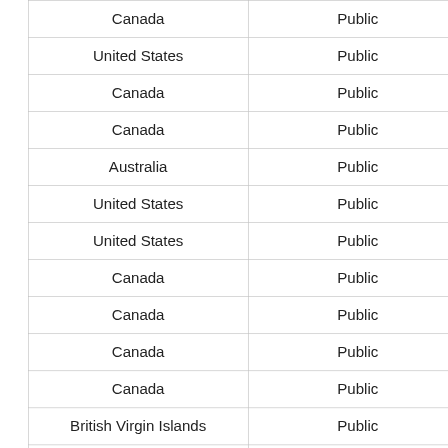| Canada | Public |
| United States | Public |
| Canada | Public |
| Canada | Public |
| Australia | Public |
| United States | Public |
| United States | Public |
| Canada | Public |
| Canada | Public |
| Canada | Public |
| Canada | Public |
| British Virgin Islands | Public |
| Australia | Public |
| Singapore | Public |
| Canada | Public |